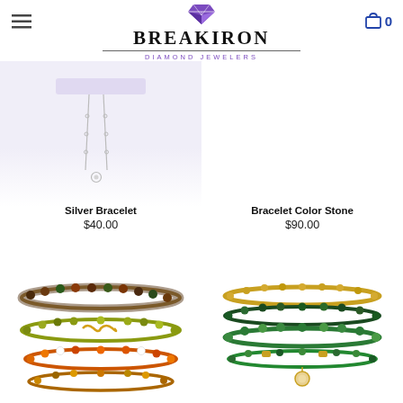[Figure (logo): Breakiron Diamond Jewelers logo with purple diamond icon, bold serif BREAKIRON text, and DIAMOND JEWELERS subtitle in purple. Hamburger menu icon on left, shopping cart with 0 on right.]
[Figure (photo): Silver bracelet with delicate chain and small diamond pendant on white/lavender background]
Silver Bracelet
$40.00
Bracelet Color Stone
$90.00
[Figure (photo): Stack of colorful beaded bracelets with green, orange, red, and yellow stones with gold infinity links]
[Figure (photo): Green and dark stone beaded bracelet set with gold accents and a round charm pendant]